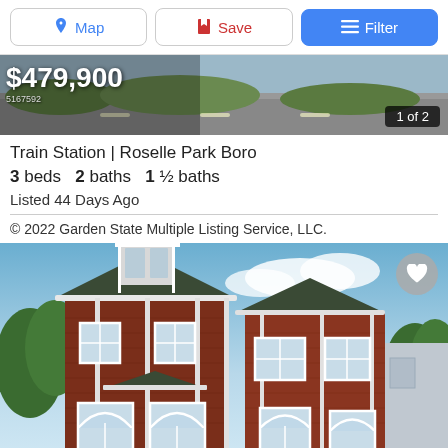Map | Save | Filter
[Figure (photo): Aerial/street-level photo strip showing road and greenery behind listing price overlay]
$479,900
5167592
1 of 2
Train Station | Roselle Park Boro
3 beds   2 baths   1 ½ baths
Listed 44 Days Ago
© 2022 Garden State Multiple Listing Service, LLC.
[Figure (photo): Exterior photo of a three-story red brick colonial-style house with white trim, arched windows on ground floor, dormers on top, green trees visible, gray sky with clouds. A heart/favorite button is visible in the upper right corner of the photo.]